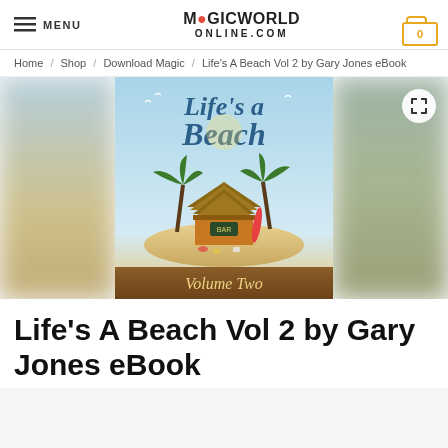MENU | MAGICWORLDONLINE.COM | 0
Home / Shop / Download Magic / Life's A Beach Vol 2 by Gary Jones eBook
[Figure (illustration): Book cover for 'Life's A Beach Volume Two' by Gary Jones — illustrated beach bar scene with palm trees and thatched hut on a sandy island, sky blue background, blurred on left and right edges]
Life's A Beach Vol 2 by Gary Jones eBook